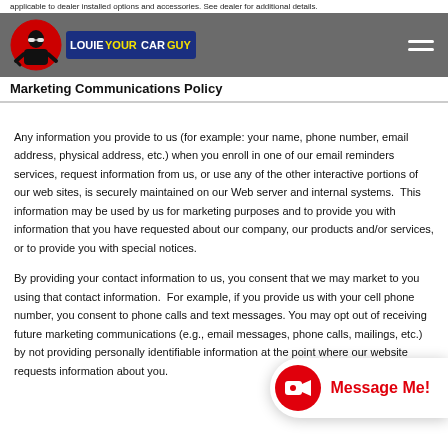applicable dealer installed options and accessories. See dealer for additional details.
Marketing Communications Policy
Any information you provide to us (for example: your name, phone number, email address, physical address, etc.) when you enroll in one of our email reminders services, request information from us, or use any of the other interactive portions of our web sites, is securely maintained on our Web server and internal systems.  This information may be used by us for marketing purposes and to provide you with information that you have requested about our company, our products and/or services, or to provide you with special notices.
By providing your contact information to us, you consent that we may market to you using that contact information.  For example, if you provide us with your cell phone number, you consent to phone calls and text messages. You may opt out of receiving future marketing communications (e.g., email messages, phone calls, mailings, etc.) by not providing personally identifiable information at the point where our website requests information about you.
[Figure (logo): LouieYourCarGuy logo with circular avatar and stylized text]